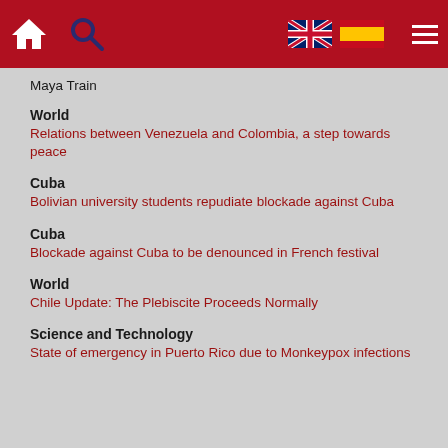Navigation bar with home, search, UK flag, Spain flag, menu icons
Maya Train
World
Relations between Venezuela and Colombia, a step towards peace
Cuba
Bolivian university students repudiate blockade against Cuba
Cuba
Blockade against Cuba to be denounced in French festival
World
Chile Update: The Plebiscite Proceeds Normally
Science and Technology
State of emergency in Puerto Rico due to Monkeypox infections